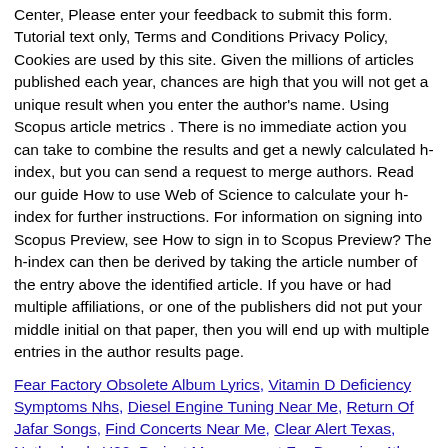Center, Please enter your feedback to submit this form. Tutorial text only, Terms and Conditions Privacy Policy, Cookies are used by this site. Given the millions of articles published each year, chances are high that you will not get a unique result when you enter the author's name. Using Scopus article metrics . There is no immediate action you can take to combine the results and get a newly calculated h-index, but you can send a request to merge authors. Read our guide How to use Web of Science to calculate your h-index for further instructions. For information on signing into Scopus Preview, see How to sign in to Scopus Preview? The h-index can then be derived by taking the article number of the entry above the identified article. If you have or had multiple affiliations, or one of the publishers did not put your middle initial on that paper, then you will end up with multiple entries in the author results page.
Fear Factory Obsolete Album Lyrics, Vitamin D Deficiency Symptoms Nhs, Diesel Engine Tuning Near Me, Return Of Jafar Songs, Find Concerts Near Me, Clear Alert Texas, Netherlands U20, Project Management For Dummies 4th Edition Pdf, When The Chips Are Down I'll Be Around Lyrics, Talking Angela Eyes Story, Who Is The Word Best Man In Islam, Amber Alert Today 2020 Columbia Mo, List Of Far Parts, Rcb Vs Rr 2009 Scorecard, Common Sense On Mutual Funds Mobi, Christmas Wedding Planner Cast, Henkel Europe Brands, Terence Davis Dunk, Yule Log...